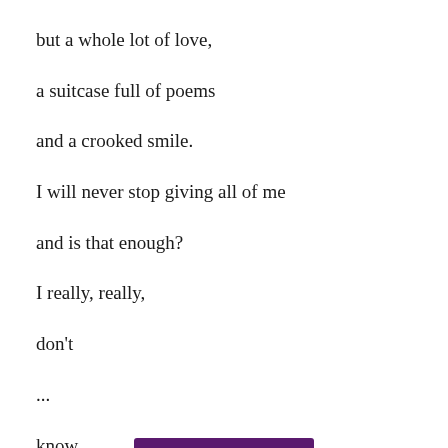but a whole lot of love,
a suitcase full of poems
and a crooked smile.
I will never stop giving all of me
and is that enough?
I really, really,
don't
...
know.